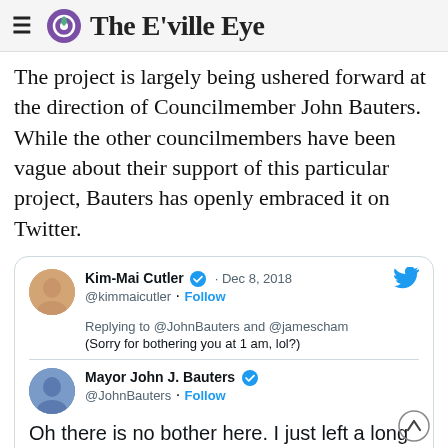The E'ville Eye
The project is largely being ushered forward at the direction of Councilmember John Bauters. While the other councilmembers have been vague about their support of this particular project, Bauters has openly embraced it on Twitter.
[Figure (screenshot): Embedded Twitter/X thread screenshot. Kim-Mai Cutler (@kimmaicutler) Dec 8, 2018 replying to @JohnBauters and @jamescham: '(Sorry for bothering you at 1 am, lol?)'. Mayor John J. Bauters (@JohnBauters) replies: 'Oh there is no bother here. I just left a long discussion over wine about how to Vancouverize California']